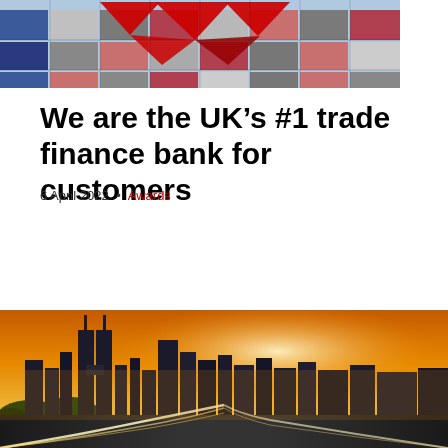[Figure (photo): Stacked shipping containers with red geometric shapes overlay, aerial view]
We are the UK’s #1 trade finance bank for customers
6 April 2022 • Awards
[Figure (photo): City skyline at sunset/dusk with highway light trails, warm orange sky, tall skyscrapers]